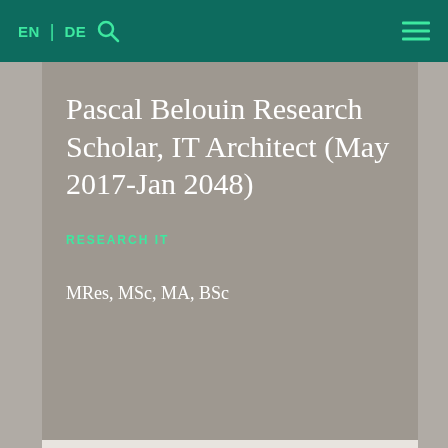EN | DE [search icon] [hamburger menu]
Pascal Belouin Research Scholar, IT Architect (May 2017-Jan 2048)
RESEARCH IT
MRes, MSc, MA, BSc